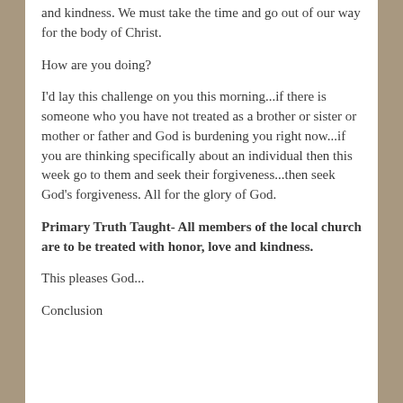and kindness. We must take the time and go out of our way for the body of Christ.
How are you doing?
I'd lay this challenge on you this morning...if there is someone who you have not treated as a brother or sister or mother or father and God is burdening you right now...if you are thinking specifically about an individual then this week go to them and seek their forgiveness...then seek God's forgiveness. All for the glory of God.
Primary Truth Taught- All members of the local church are to be treated with honor, love and kindness.
This pleases God...
Conclusion